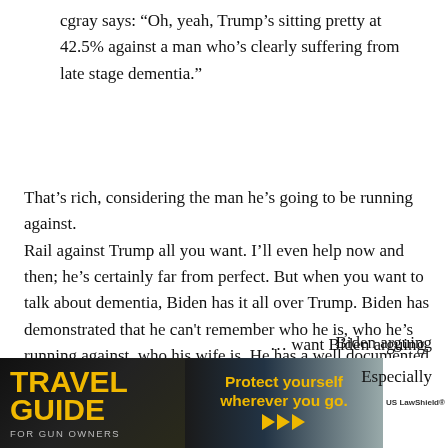cgray says: “Oh, yeah, Trump’s sitting pretty at 42.5% against a man who’s clearly suffering from late stage dementia.”
That’s rich, considering the man he’s going to be running against.
Rail against Trump all you want. I’ll even help now and then; he’s certainly far from perfect. But when you want to talk about dementia, Biden has it all over Trump. Biden has demonstrated that he can’t remember who he is, who he’s running against, who his wife is. He has a well documented problem stringing words together into a coherent sentence. Putting things into some sort of rational perspective… let’s actually want Biden arguing … Especially
[Figure (advertisement): Travel Guide for Gun Owners advertisement banner reading 'Protect yourself wherever you go.' with play button arrows and US LawShield branding]